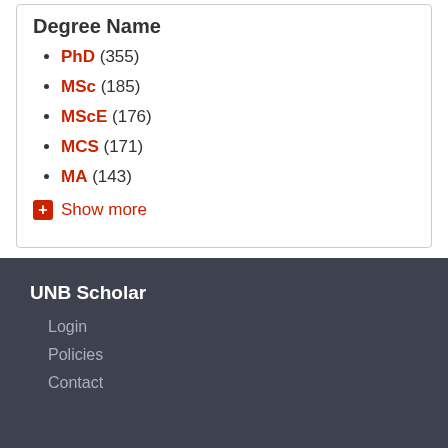Degree Name
PhD (355)
MSc (185)
MScE (176)
MCS (171)
MA (143)
Show more
UNB Scholar
Login
Policies
Contact